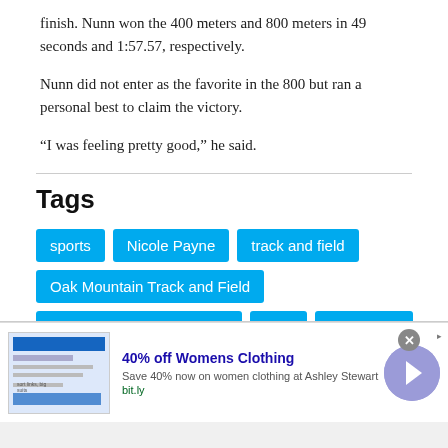finish. Nunn won the 400 meters and 800 meters in 49 seconds and 1:57.57, respectively.
Nunn did not enter as the favorite in the 800 but ran a personal best to claim the victory.
“I was feeling pretty good,” he said.
Tags
sports
Nicole Payne
track and field
Oak Mountain Track and Field
Oak Mountain High School
May
2019 story
[Figure (infographic): Advertisement banner: 40% off Womens Clothing from Ashley Stewart. Shows a website screenshot thumbnail, ad title in blue, description text, bit.ly URL, close button, and arrow navigation button.]